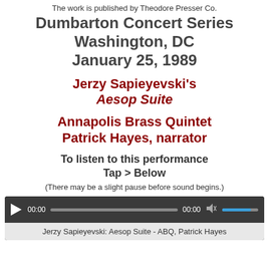The work is published by Theodore Presser Co.
Dumbarton Concert Series
Washington, DC
January 25, 1989
Jerzy Sapieyevski's
Aesop Suite
Annapolis Brass Quintet
Patrick Hayes, narrator
To listen to this performance
Tap > Below
(There may be a slight pause before sound begins.)
[Figure (other): Audio player with play button, time display showing 00:00, progress bar, volume icon, volume bar, and label 'Jerzy Sapieyevski: Aesop Suite - ABQ, Patrick Hayes']